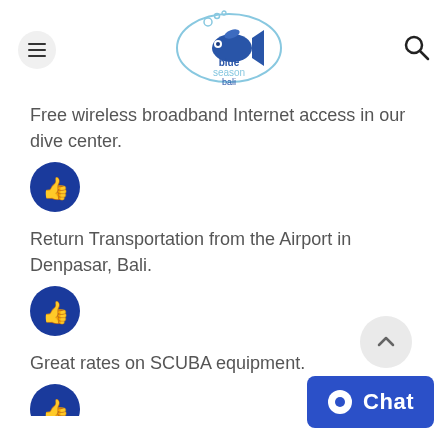Blue Season Bali - navigation header with hamburger menu and search icon
Free wireless broadband Internet access in our dive center.
[Figure (illustration): Blue thumbs-up icon in a dark blue circle]
Return Transportation from the Airport in Denpasar, Bali.
[Figure (illustration): Blue thumbs-up icon in a dark blue circle]
Great rates on SCUBA equipment.
[Figure (illustration): Blue thumbs-up icon in a dark blue circle (partially visible at bottom)]
[Figure (illustration): Chat button with speech bubble icon, labeled Chat]